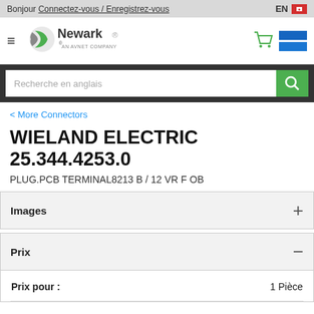Bonjour Connectez-vous / Enregistrez-vous  EN [CA]
[Figure (logo): Newark - An Avnet Company logo]
[Figure (other): Search bar: Recherche en anglais with green search button]
< More Connectors
WIELAND ELECTRIC 25.344.4253.0
PLUG.PCB TERMINAL8213 B / 12 VR F OB
Images +
Prix −
| Prix pour : | 1 Pièce |
| --- | --- |